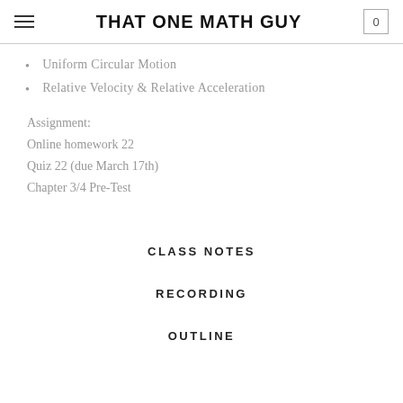THAT ONE MATH GUY
Uniform Circular Motion
Relative Velocity & Relative Acceleration
Assignment:
Online homework 22
Quiz 22 (due March 17th)
Chapter 3/4 Pre-Test
CLASS NOTES
RECORDING
OUTLINE